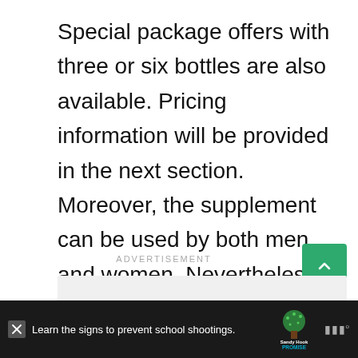Special package offers with three or six bottles are also available. Pricing information will be provided in the next section. Moreover, the supplement can be used by both men and women. Nevertheless, there are some limitations to the supplement.
ADVERTISEMENT
[Figure (other): Green scroll-to-top button with upward chevron arrow]
[Figure (other): Gray advertisement placeholder rectangle]
[Figure (other): Bottom advertisement banner: dark background with Sandy Hook Promise logo and text 'Learn the signs to prevent school shootings.']